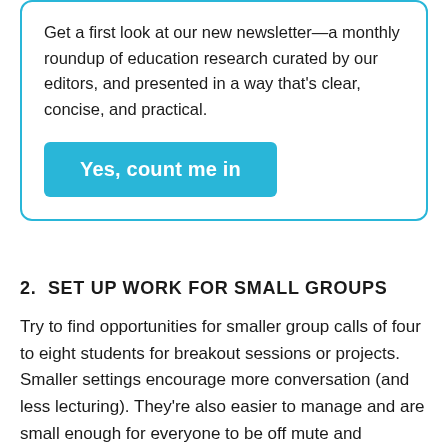Get a first look at our new newsletter—a monthly roundup of education research curated by our editors, and presented in a way that's clear, concise, and practical.
Yes, count me in
2.  SET UP WORK FOR SMALL GROUPS
Try to find opportunities for smaller group calls of four to eight students for breakout sessions or projects. Smaller settings encourage more conversation (and less lecturing). They're also easier to manage and are small enough for everyone to be off mute and exchange ideas without being